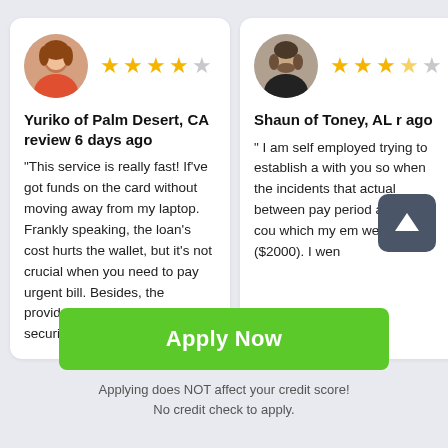Yuriko of Palm Desert, CA review 6 days ago
"This service is really fast! If've got funds on the card without moving away from my laptop. Frankly speaking, the loan's cost hurts the wallet, but it's not crucial when you need to pay urgent bill. Besides, the provider's transparency and security is worth it."
Shaun of Toney, AL r ago
" I am self employed trying to establish a with you so when the incidents that actual between pay period a place I cou which my em week ($2000). I wen
Apply Now
Applying does NOT affect your credit score!
No credit check to apply.